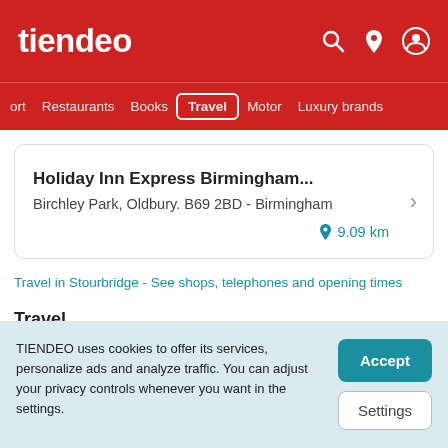tiendeo
ort  Restaurants  Books  Travel  Motor  Luxury brands
Holiday Inn Express Birmingham...
Birchley Park, Oldbury. B69 2BD - Birmingham
9.09 km
Travel in Stourbridge - See shops, telephones and opening times
Travel
TIENDEO uses cookies to offer its services, personalize ads and analyze traffic. You can adjust your privacy controls whenever you want in the settings.